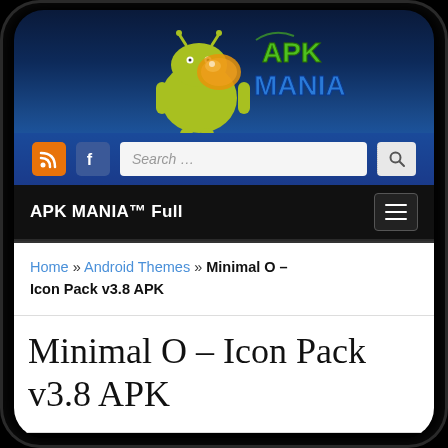[Figure (screenshot): APK Mania website logo with Android robot mascot and stylized 'APK MANIA' text in green and blue]
[Figure (screenshot): Search bar row with RSS orange icon, Facebook blue icon, search input field with placeholder 'Search ...', and magnifier button]
APK MANIA™ Full
Home » Android Themes » Minimal O – Icon Pack v3.8 APK
Minimal O – Icon Pack v3.8 APK